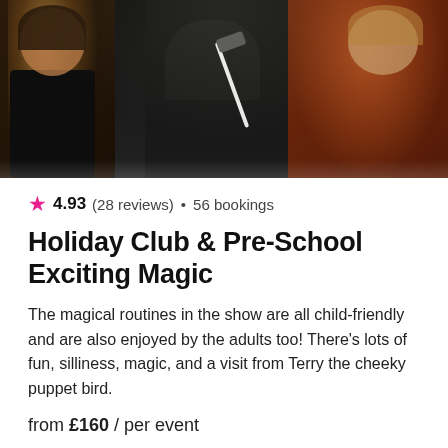[Figure (photo): A magic show scene with children watching a magician performing on stage with a wand]
4.93 (28 reviews) • 56 bookings
Holiday Club & Pre-School Exciting Magic
The magical routines in the show are all child-friendly and are also enjoyed by the adults too! There's lots of fun, silliness, magic, and a visit from Terry the cheeky puppet bird.
from £160 / per event
[Figure (photo): A child with elaborate face paint design resembling a superhero or character mask]